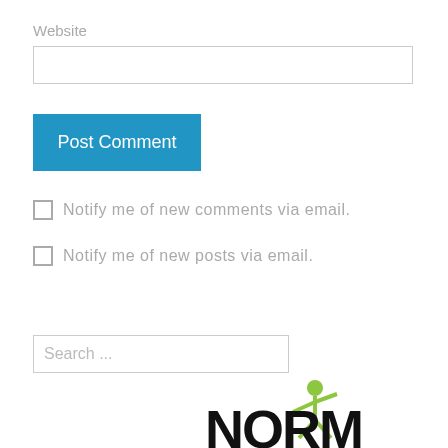Website
[Figure (screenshot): Empty text input field for Website URL]
[Figure (screenshot): Blue 'Post Comment' button]
Notify me of new comments via email.
Notify me of new posts via email.
[Figure (screenshot): Search input field with placeholder text 'Search ...']
[Figure (logo): NORML logo with green stick figure and black text letters N O R M...]